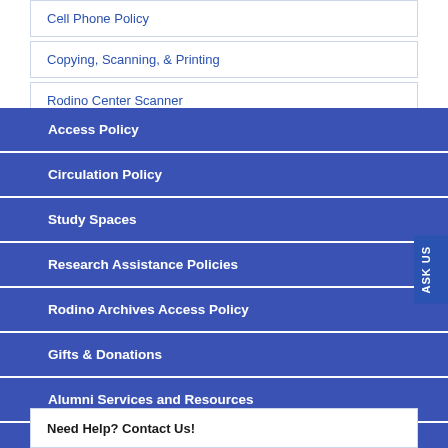Cell Phone Policy
Copying, Scanning, & Printing
Rodino Center Scanner
Access Policy
Circulation Policy
Study Spaces
Research Assistance Policies
Rodino Archives Access Policy
Gifts & Donations
Alumni Services and Resources
Visiting Attorneys & NJLLA Librarians
Rodino Center Teaching & Event Calendar
Need Help? Contact Us!